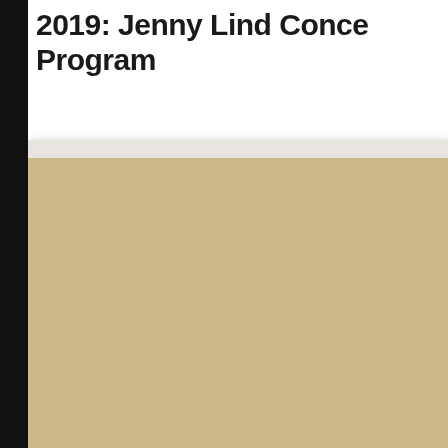2019: Jenny Lind Concert Program
[Figure (photo): Photograph of an antique concert program on aged parchment paper. The program reads 'MUSICAL FUND HA...' at the top in bold uppercase serif type, followed by an ornamental decorative border with scrollwork. Below the ornament is large italic blackletter text reading 'Programme' followed by 'of' in smaller italic text, then 'Mademoiselle Jenny Lind...' in large blackletter script at the bottom.]